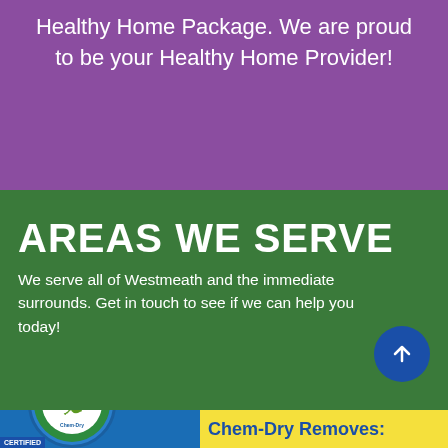Healthy Home Package. We are proud to be your Healthy Home Provider!
AREAS WE SERVE
We serve all of Westmeath and the immediate surrounds. Get in touch to see if we can help you today!
[Figure (logo): Chem-Dry removes allergens badge/logo and bottom banner with text 'Chem-Dry Removes:']